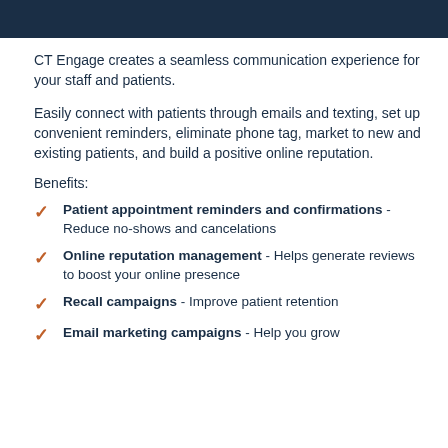[Figure (other): Dark navy blue header bar at top of page]
CT Engage creates a seamless communication experience for your staff and patients.
Easily connect with patients through emails and texting, set up convenient reminders, eliminate phone tag, market to new and existing patients, and build a positive online reputation.
Benefits:
Patient appointment reminders and confirmations - Reduce no-shows and cancelations
Online reputation management - Helps generate reviews to boost your online presence
Recall campaigns - Improve patient retention
Email marketing campaigns - Help you grow